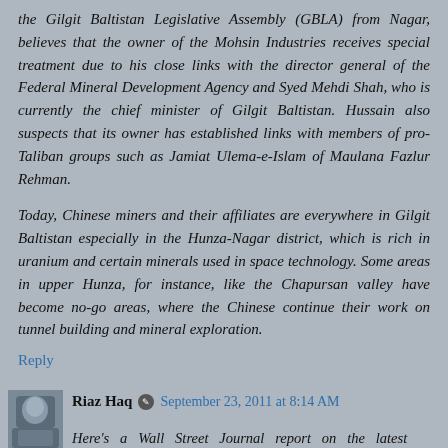the Gilgit Baltistan Legislative Assembly (GBLA) from Nagar, believes that the owner of the Mohsin Industries receives special treatment due to his close links with the director general of the Federal Mineral Development Agency and Syed Mehdi Shah, who is currently the chief minister of Gilgit Baltistan. Hussain also suspects that its owner has established links with members of pro-Taliban groups such as Jamiat Ulema-e-Islam of Maulana Fazlur Rehman.
Today, Chinese miners and their affiliates are everywhere in Gilgit Baltistan especially in the Hunza-Nagar district, which is rich in uranium and certain minerals used in space technology. Some areas in upper Hunza, for instance, like the Chapursan valley have become no-go areas, where the Chinese continue their work on tunnel building and mineral exploration.
Reply
Riaz Haq
September 23, 2011 at 8:14 AM
Here's a Wall Street Journal report on the latest